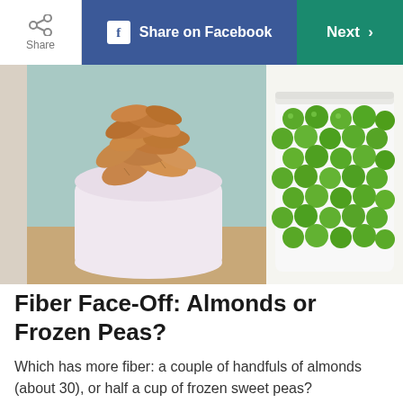Share | Share on Facebook | Next >
[Figure (photo): Two food photos side by side: left shows almonds piled in a pink/white ceramic cup on a light blue background; right shows bright green frozen peas in a white rectangular container.]
Fiber Face-Off: Almonds or Frozen Peas?
Which has more fiber: a couple of handfuls of almonds (about 30), or half a cup of frozen sweet peas?